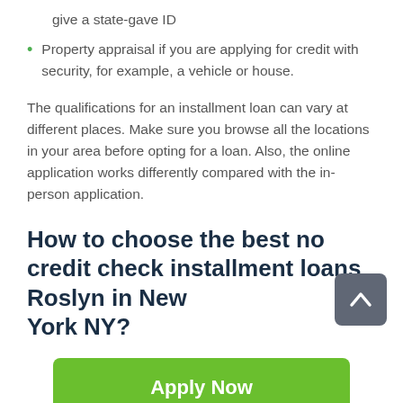give a state-gave ID
Property appraisal if you are applying for credit with security, for example, a vehicle or house.
The qualifications for an installment loan can vary at different places. Make sure you browse all the locations in your area before opting for a loan. Also, the online application works differently compared with the in-person application.
How to choose the best no credit check installment loans Roslyn in New York NY?
Apply Now
Applying does NOT affect your credit score!
No credit check to apply.